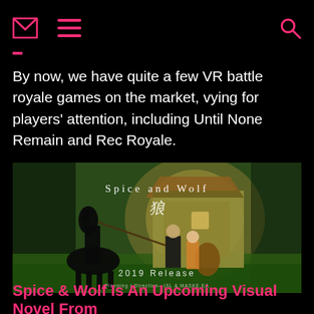[envelope icon] [menu icon] [search icon]
By now, we have quite a few VR battle royale games on the market, vying for players' attention, including Until None Remain and Rec Royale.
[Figure (illustration): Promotional image for 'Spice and Wolf' visual novel showing two anime characters and a black horse standing in front of a fantasy cottage with lush green surroundings. Text reads 'Spice and Wolf' and '2019 Release'.]
Spice & Wolf Is An Upcoming Visual Novel From